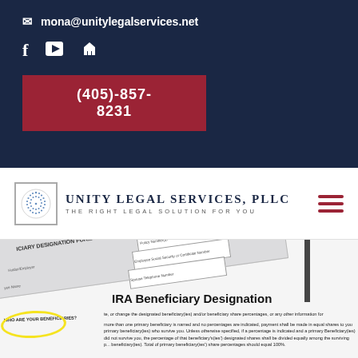mona@unitylegalservices.net
(405)-857-8231
[Figure (logo): Unity Legal Services, PLLC logo with circular dot pattern icon and text 'Unity Legal Services, PLLC — The Right Legal Solution For You']
[Figure (photo): Background photo of an IRA Beneficiary Designation Form with a yellow circle highlight around 'WHO ARE YOUR BENEFICIARIES?']
IRA Beneficiary Designation
te, or change the designated beneficiary(ies) and/or beneficiary share percentages, or any other information for
more than one primary beneficiary is named and no percentages are indicated, payment shall be made in equal shares to you primary beneficiary(ies) who survive you. Unless otherwise specified, if a percentage is indicated and a primary Beneficiary(ies) did not survive you, the percentage of that beneficiary's(ies') designated shares shall be divided equally among the surviving primary beneficiary(ies). Total of primary beneficiary(ies') share percentages should equal 100%.